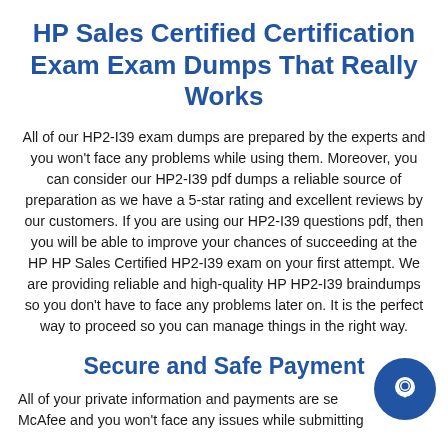HP Sales Certified Certification Exam Exam Dumps That Really Works
All of our HP2-I39 exam dumps are prepared by the experts and you won't face any problems while using them. Moreover, you can consider our HP2-I39 pdf dumps a reliable source of preparation as we have a 5-star rating and excellent reviews by our customers. If you are using our HP2-I39 questions pdf, then you will be able to improve your chances of succeeding at the HP HP Sales Certified HP2-I39 exam on your first attempt. We are providing reliable and high-quality HP HP2-I39 braindumps so you don't have to face any problems later on. It is the perfect way to proceed so you can manage things in the right way.
Secure and Safe Payment
All of your private information and payments are secured by McAfee and you won't face any issues while submitting